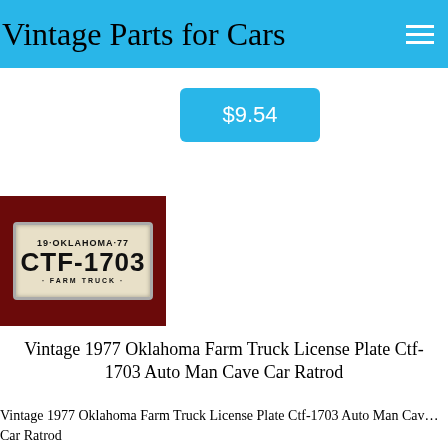Vintage Parts for Cars
$9.54
[Figure (photo): Photograph of a 1977 Oklahoma Farm Truck license plate reading 'CTF-1703' mounted on a dark red/maroon background]
Vintage 1977 Oklahoma Farm Truck License Plate Ctf-1703 Auto Man Cave Car Ratrod
Vintage 1977 Oklahoma Farm Truck License Plate Ctf-1703 Auto Man Cave Car Ratrod